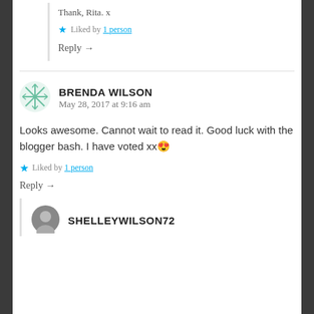Thank, Rita. x
Liked by 1 person
Reply →
[Figure (illustration): Snowflake/geometric avatar icon for Brenda Wilson]
BRENDA WILSON
May 28, 2017 at 9:16 am
Looks awesome. Cannot wait to read it. Good luck with the blogger bash. I have voted xx😍
Liked by 1 person
Reply →
[Figure (photo): Circular avatar photo for ShelleyWilson72]
SHELLEYWILSON72